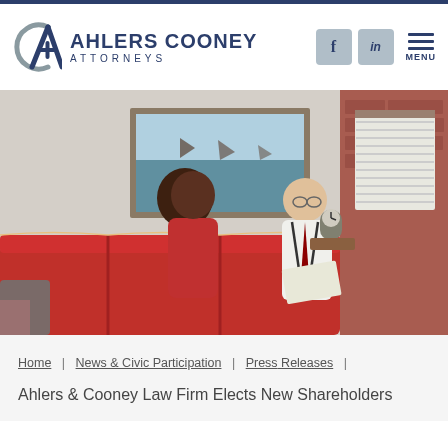Ahlers Cooney Attorneys
[Figure (photo): Two people sitting on a red couch in an office setting, appearing to have a professional consultation. A woman in a red top holds documents, and a man in a white shirt with suspenders and tie smiles. A landscape painting hangs on the wall behind them, and a clock is visible in the background.]
Home | News & Civic Participation | Press Releases |
Ahlers & Cooney Law Firm Elects New Shareholders